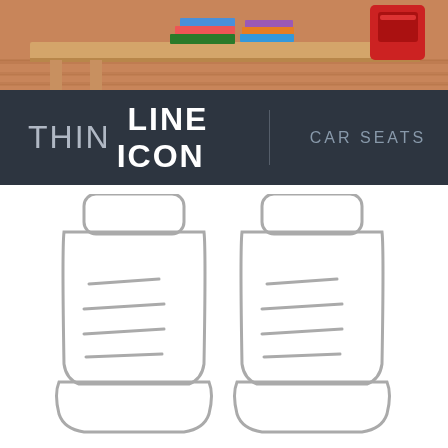[Figure (illustration): Top portion showing a classroom/desk scene illustration with books on a wooden table and a red backpack, wooden floor background]
[Figure (infographic): Dark banner with text THIN LINE ICON | CAR SEATS on dark navy background]
[Figure (illustration): Thin line icon illustration of two car seats side by side, drawn with gray outlines on white background, showing headrests, backrests with horizontal lines, and seat cushions]